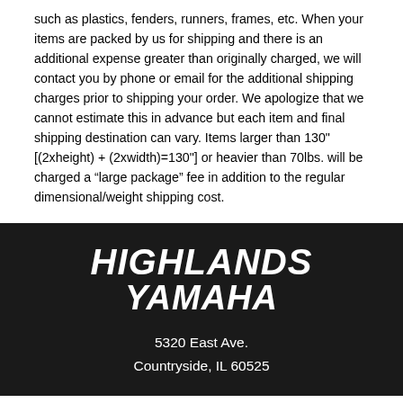such as plastics, fenders, runners, frames, etc. When your items are packed by us for shipping and there is an additional expense greater than originally charged, we will contact you by phone or email for the additional shipping charges prior to shipping your order. We apologize that we cannot estimate this in advance but each item and final shipping destination can vary. Items larger than 130" [(2xheight) + (2xwidth)=130"] or heavier than 70lbs. will be charged a "large package" fee in addition to the regular dimensional/weight shipping cost.
[Figure (logo): Highlands Yamaha logo with white bold italic text on dark background, with address 5320 East Ave., Countryside, IL 60525]